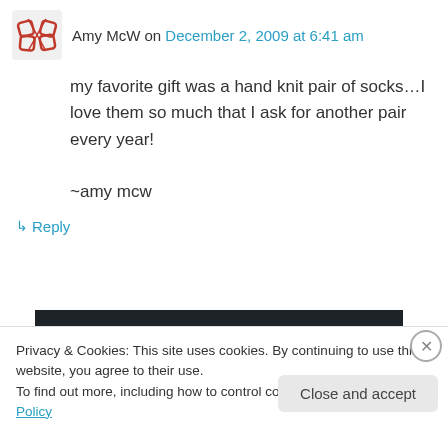Amy McW on December 2, 2009 at 6:41 am
my favorite gift was a hand knit pair of socks…I love them so much that I ask for another pair every year!

~amy mcw
↳ Reply
[Figure (screenshot): Dark advertisement banner with a teal 'Learn More' button]
Privacy & Cookies: This site uses cookies. By continuing to use this website, you agree to their use.
To find out more, including how to control cookies, see here: Cookie Policy
Close and accept